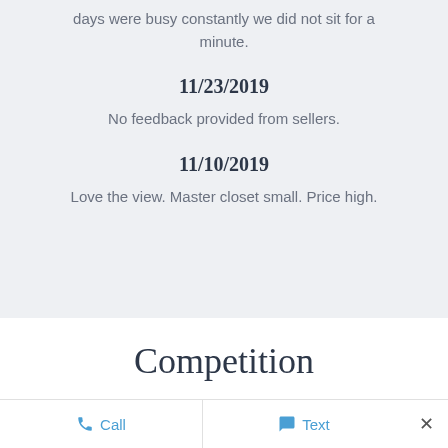days were busy constantly we did not sit for a minute.
11/23/2019
No feedback provided from sellers.
11/10/2019
Love the view. Master closet small. Price high.
Competition
Call   Text   ×